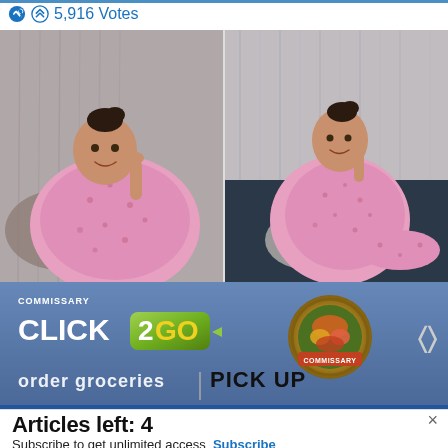5,916 Votes
[Figure (photo): Side-by-side comparison photos of a woman in pink polka-dot pajamas, before and after, seated on a couch]
[Figure (infographic): Advertisement banner for Commissary Click2Go ordering service with green logo and commissary badge]
Articles left: 4
Subscribe to get unlimited access  Subscribe
Already have an account?  Login here